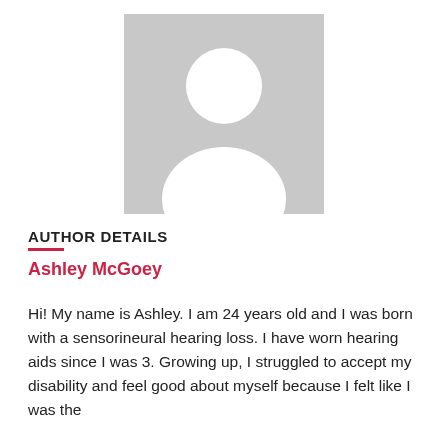[Figure (illustration): Placeholder profile avatar image: gray square background with white silhouette of a person (circle head, shoulders/torso shape)]
AUTHOR DETAILS
Ashley McGoey
Hi! My name is Ashley. I am 24 years old and I was born with a sensorineural hearing loss. I have worn hearing aids since I was 3. Growing up, I struggled to accept my disability and feel good about myself because I felt like I was the